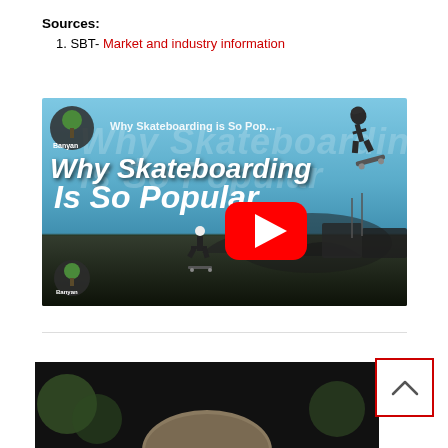Sources:
1. SBT- Market and industry information
[Figure (screenshot): YouTube video thumbnail for 'Why Skateboarding is So Popular' by Banyan, showing skateboarders at a skate park with a YouTube play button overlay]
[Figure (screenshot): Partial view of another video thumbnail showing top of a person's head, with a back-to-top arrow button (red border) in the top-right corner]